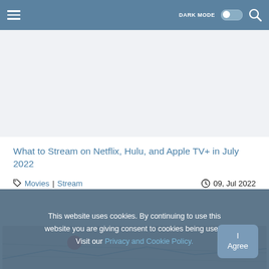Navigation bar with hamburger menu, DARK MODE toggle, and search icon
What to Stream on Netflix, Hulu, and Apple TV+ in July 2022
Movies | Stream   09, Jul 2022
[Figure (screenshot): Partial image at bottom of page, appears to be a chart or map with yellow and red/green circle markers]
This website uses cookies. By continuing to use this website you are giving consent to cookies being used. Visit our Privacy and Cookie Policy.